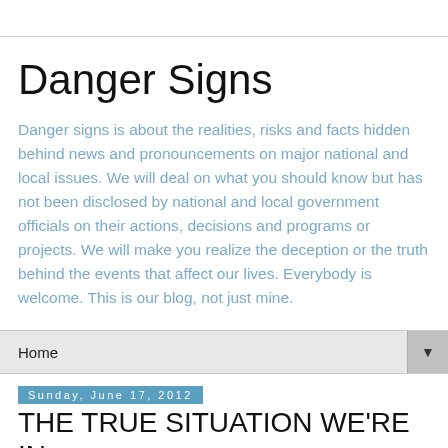Danger Signs
Danger signs is about the realities, risks and facts hidden behind news and pronouncements on major national and local issues. We will deal on what you should know but has not been disclosed by national and local government officials on their actions, decisions and programs or projects. We will make you realize the deception or the truth behind the events that affect our lives. Everybody is welcome. This is our blog, not just mine.
Home
Sunday, June 17, 2012
THE TRUE SITUATION WE'RE IN, PEOPLE!